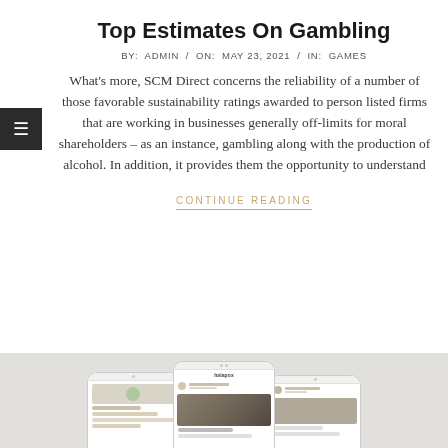Top Estimates On Gambling
BY:  ADMIN  /  ON:  MAY 23, 2021  /  IN:  GAMES
What’s more, SCM Direct concerns the reliability of a number of those favorable sustainability ratings awarded to person listed firms that are working in businesses generally off-limits for moral shareholders – as an instance, gambling along with the production of alcohol. In addition, it provides them the opportunity to understand
CONTINUE READING
[Figure (photo): Three smartphone screens showing app interfaces, displayed side by side against a light grey background strip at the bottom of the page.]